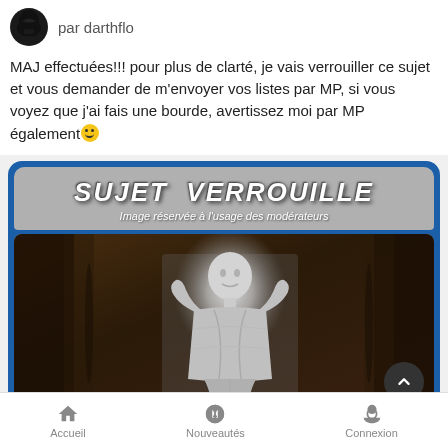par darthflo
MAJ effectuées!!! pour plus de clarté, je vais verrouiller ce sujet et vous demander de m'envoyer vos listes par MP, si vous voyez que j'ai fais une bourde, avertissez moi par MP également🙂
[Figure (screenshot): Locked thread banner showing 'SUJET VERROUILLE' in bold italic text on grey background, with subtitle 'Image réservée à l'usage des modérateurs', over a blue border frame. Below is a photo of Han Solo in carbonite (glowing silver figure frozen in wall).]
Accueil   Nouveautés   Connexion